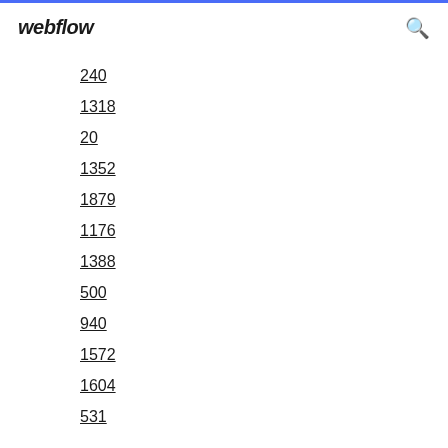webflow
240
1318
20
1352
1879
1176
1388
500
940
1572
1604
531